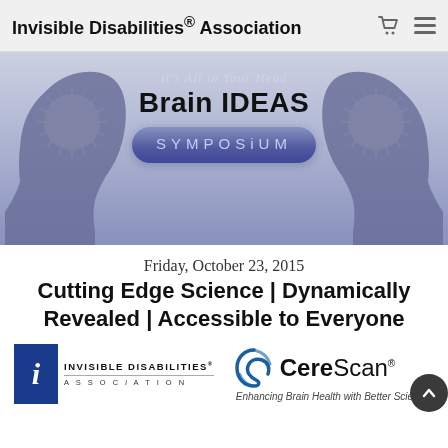Invisible Disabilities® Association
[Figure (logo): Brain IDEAS Symposium logo with two head silhouettes with starburst effects and text 'It's All in Your Head / Brain IDEAS / SYMPOSIUM' on a blue-grey gradient banner]
Friday, October 23, 2015
Cutting Edge Science | Dynamically Revealed | Accessible to Everyone
[Figure (logo): Invisible Disabilities Association logo with blue 'i' box and text, and CereScan logo with swirl graphic and tagline 'Enhancing Brain Health with Better Science']